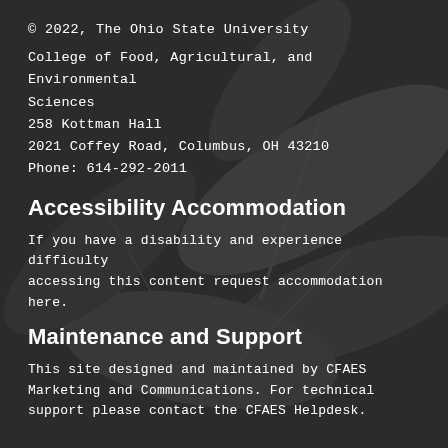© 2022, The Ohio State University
College of Food, Agricultural, and Environmental Sciences
258 Kottman Hall
2021 Coffey Road, Columbus, OH 43210
Phone: 614-292-2011
Accessibility Accommodation
If you have a disability and experience difficulty accessing this content request accommodation here.
Maintenance and Support
This site designed and maintained by CFAES Marketing and Communications. For technical support please contact the CFAES Helpdesk.